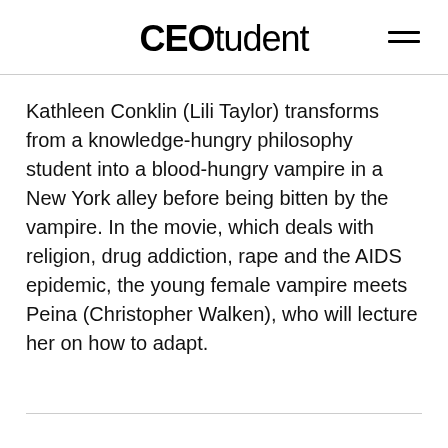CEOtudent
Kathleen Conklin (Lili Taylor) transforms from a knowledge-hungry philosophy student into a blood-hungry vampire in a New York alley before being bitten by the vampire. In the movie, which deals with religion, drug addiction, rape and the AIDS epidemic, the young female vampire meets Peina (Christopher Walken), who will lecture her on how to adapt.